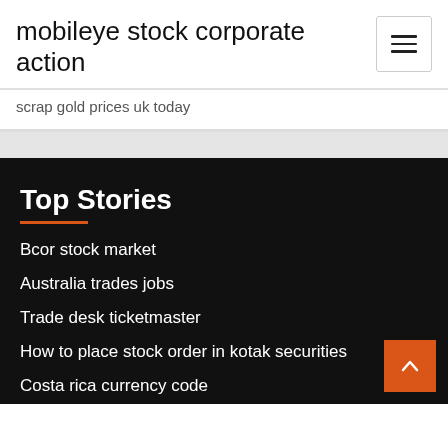mobileye stock corporate action
scrap gold prices uk today
Top Stories
Bcor stock market
Australia trades jobs
Trade desk ticketmaster
How to place stock order in kotak securities
Costa rica currency code